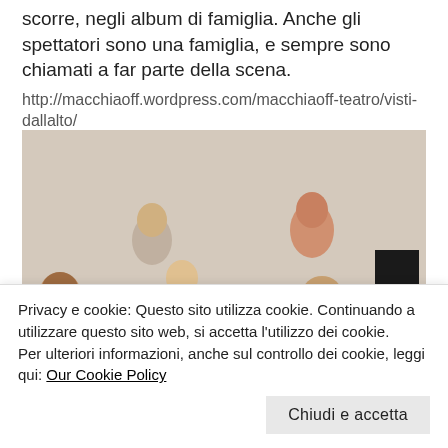scorre, negli album di famiglia. Anche gli spettatori sono una famiglia, e sempre sono chiamati a far parte della scena.
http://macchiaoff.wordpress.com/macchiaoff-teatro/visti-dallalto/
[Figure (photo): Group photo of people including a man with a top hat on the right, various adults smiling and looking at flashlights in what appears to be an indoor setting.]
Privacy e cookie: Questo sito utilizza cookie. Continuando a utilizzare questo sito web, si accetta l'utilizzo dei cookie.
Per ulteriori informazioni, anche sul controllo dei cookie, leggi qui: Our Cookie Policy
Chiudi e accetta